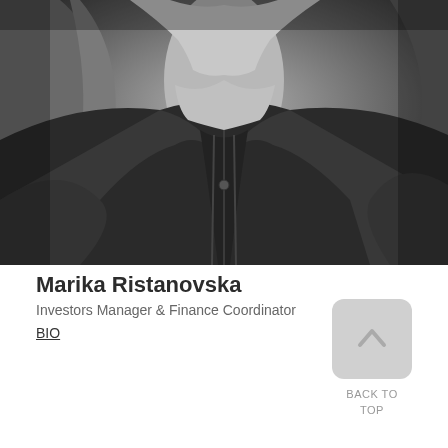[Figure (photo): Black and white portrait photo of Marika Ristanovska, a woman with long hair wearing a dark button-up blouse, cropped at chest level]
Marika Ristanovska
Investors Manager & Finance Coordinator
BIO